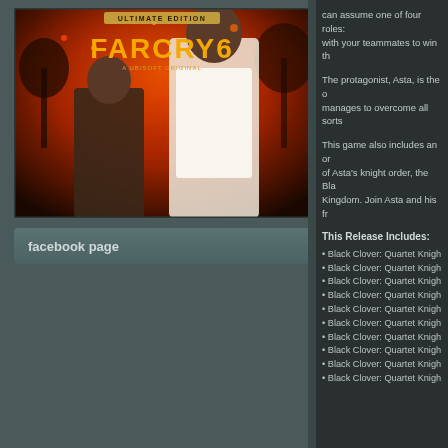[Figure (photo): Far Cry 6 Ultimate Edition game cover art showing two characters against a fiery red background with the game title logo]
facebook page
can assume one of four roles: with your teammates to win th
The protagonist, Asta, is the o manages to overcome all sorts
This game also includes an or of Asta's knight order, the Bla Kingdom. Join Asta and his fr
This Release Includes:
• Black Clover: Quartet Knigh
• Black Clover: Quartet Knigh
• Black Clover: Quartet Knigh
• Black Clover: Quartet Knigh
• Black Clover: Quartet Knigh
• Black Clover: Quartet Knigh
• Black Clover: Quartet Knigh
• Black Clover: Quartet Knigh
• Black Clover: Quartet Knigh
• Black Clover: Quartet Knigh